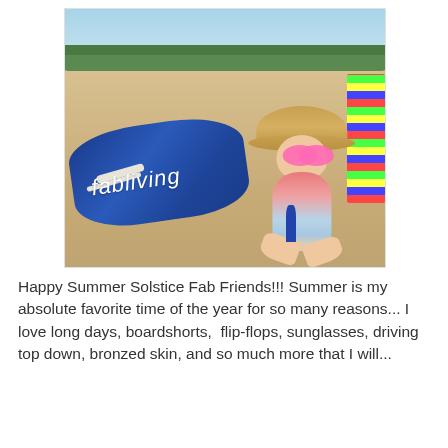[Figure (photo): A toddler sitting on a beach in the sand, wearing a large straw hat and pink flamingo-shaped sunglasses, and a colorful flamingo swimsuit. Next to the child is a navy blue bag with 'fabliving' written on it in white cursive. A striped beach chair is visible on the right edge.]
Happy Summer Solstice Fab Friends!!! Summer is my absolute favorite time of the year for so many reasons... I love long days, boardshorts,  flip-flops, sunglasses, driving top down, bronzed skin, and so much more that I will...